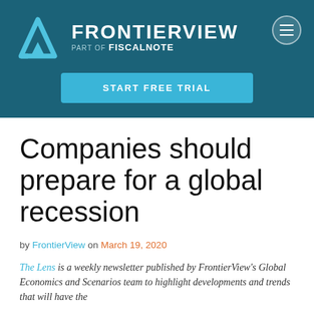FRONTIERVIEW PART OF FiscalNote
START FREE TRIAL
Companies should prepare for a global recession
by FrontierView on March 19, 2020
The Lens is a weekly newsletter published by FrontierView's Global Economics and Scenarios team to highlight developments and trends that will have the